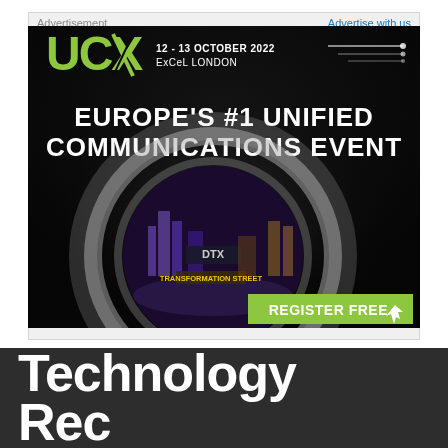Advertisement
Advertise with us
[Figure (infographic): UCX event advertisement: 'UCX 12-13 October 2022, ExCeL London. Europe's #1 Unified Communications Event. TRANSFORMATION STREET / DTX. REGISTER FREE' on a dark background with a futuristic tunnel and cityscape.]
Technology Record